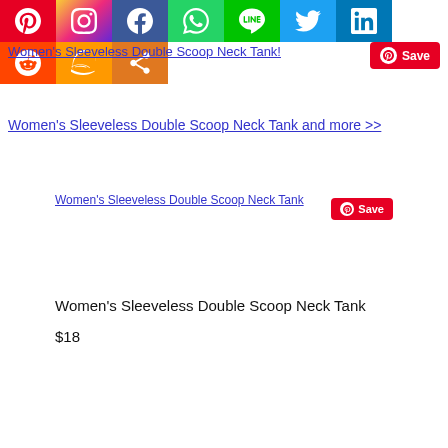[Figure (infographic): Row of social media sharing icons: Pinterest, Instagram, Facebook, WhatsApp, LINE, Twitter, LinkedIn (top row); Reddit, Amazon, Share (bottom row)]
[Figure (screenshot): Broken image placeholder showing alt text: Women's Sleeveless Double Scoop Neck Tank! with a Pinterest Save button overlaid]
Women's Sleeveless Double Scoop Neck Tank and more >>
[Figure (screenshot): Broken image placeholder showing alt text: Women's Sleeveless Double Scoop Neck Tank with a Pinterest Save button overlaid]
Women's Sleeveless Double Scoop Neck Tank
$18